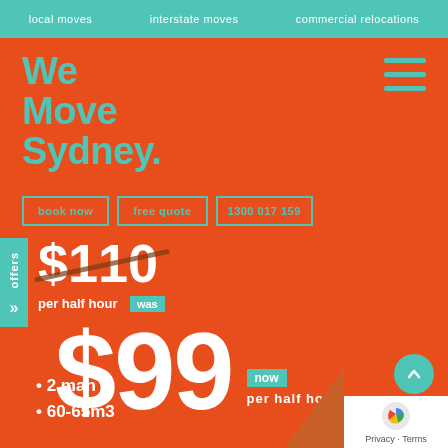local moves   interstate moves   commercial relocations
We Move Sydney.
book now   free quote   1300 017 159
offers
$110 per half hour was
$99 now per half hour
2 man
60-65m3